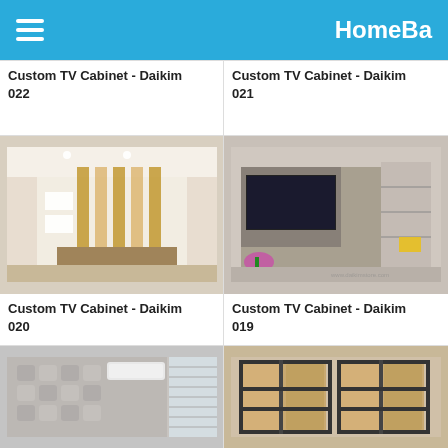HomeBa
Custom TV Cabinet - Daikim 022
Custom TV Cabinet - Daikim 021
[Figure (photo): Interior room with vertical wood panel TV cabinet unit, white walls, modern design]
Custom TV Cabinet - Daikim 020
[Figure (photo): Modern living room with large grey TV wall unit, flat screen TV, flowers and display shelves]
Custom TV Cabinet - Daikim 019
[Figure (photo): Room with textured wall pattern and air conditioning unit, window with blinds]
[Figure (photo): Wooden TV cabinet with black metal frame accents, laminate wood finish]